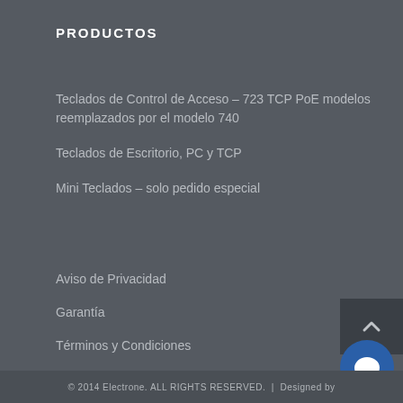PRODUCTOS
Teclados de Control de Acceso – 723 TCP PoE modelos reemplazados por el modelo 740
Teclados de Escritorio, PC y TCP
Mini Teclados – solo pedido especial
Aviso de Privacidad
Garantía
Términos y Condiciones
Atención al Cliente
© 2014 Electrone. ALL RIGHTS RESERVED. | Designed by